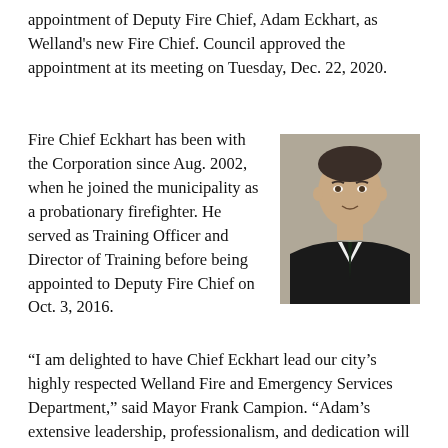appointment of Deputy Fire Chief, Adam Eckhart, as Welland's new Fire Chief. Council approved the appointment at its meeting on Tuesday, Dec. 22, 2020.
Fire Chief Eckhart has been with the Corporation since Aug. 2002, when he joined the municipality as a probationary firefighter. He served as Training Officer and Director of Training before being appointed to Deputy Fire Chief on Oct. 3, 2016.
[Figure (photo): Portrait photo of Adam Eckhart in a dark suit with tie]
“I am delighted to have Chief Eckhart lead our city’s highly respected Welland Fire and Emergency Services Department,” said Mayor Frank Campion. “Adam’s extensive leadership, professionalism, and dedication will lead the fire department, keep our community protected and safe, and ensure that Welland Fire and Emergency Services remains a leader in the fire service. Chief Eckhart is and will continue to be an invaluable member of our City Leadership Team.”